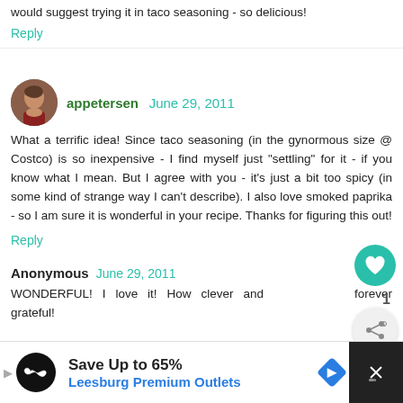would suggest trying it in taco seasoning - so delicious!
Reply
appetersen  June 29, 2011
What a terrific idea! Since taco seasoning (in the gynormous size @ Costco) is so inexpensive - I find myself just "settling" for it - if you know what I mean. But I agree with you - it's just a bit too spicy (in some kind of strange way I can't describe). I also love smoked paprika - so I am sure it is wonderful in your recipe. Thanks for figuring this out!
Reply
Anonymous  June 29, 2011
WONDERFUL! I love it! How clever and forever grateful!
[Figure (infographic): Advertisement banner: Save Up to 65% Leesburg Premium Outlets with logo and diamond icon]
[Figure (infographic): What's Next card showing Savory Taco Tortillas with a food image]